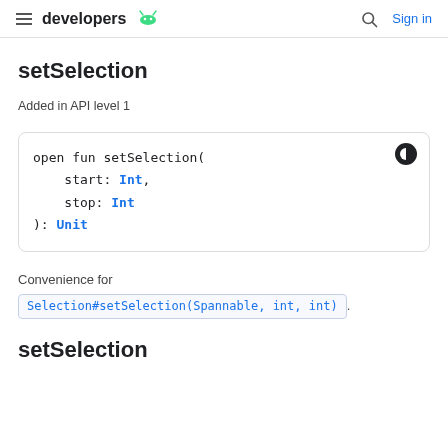developers | Sign in
setSelection
Added in API level 1
open fun setSelection(
    start: Int,
    stop: Int
): Unit
Convenience for
Selection#setSelection(Spannable, int, int).
setSelection